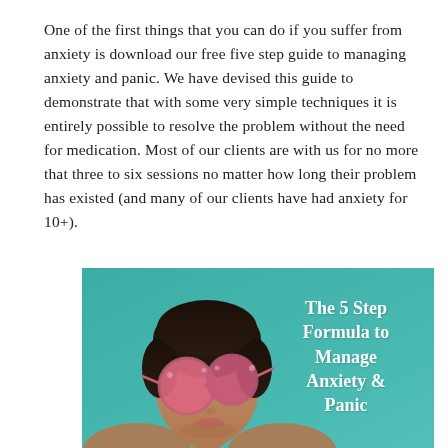One of the first things that you can do if you suffer from anxiety is download our free five step guide to managing anxiety and panic. We have devised this guide to demonstrate that with some very simple techniques it is entirely possible to resolve the problem without the need for medication. Most of our clients are with us for no more that three to six sessions no matter how long their problem has existed (and many of our clients have had anxiety for 10+).
[Figure (illustration): Promotional image with teal background showing a woman with large round pink-tinted sunglasses looking upward. White bold text on the right reads 'The 5 Step Formula to Manage Anxiety & Panic'.]